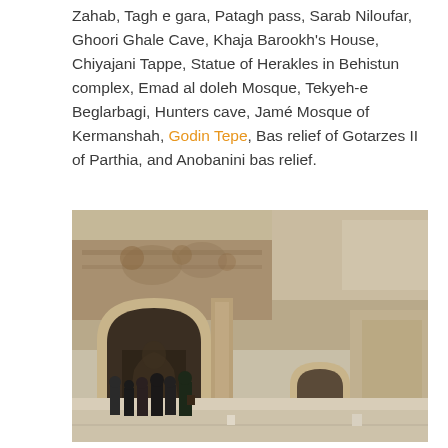Zahab, Tagh e gara, Patagh pass, Sarab Niloufar, Ghoori Ghale Cave, Khaja Barookh's House, Chiyajani Tappe, Statue of Herakles in Behistun complex, Emad al doleh Mosque, Tekyeh-e Beglarbagi, Hunters cave, Jamé Mosque of Kermanshah, Godin Tepe, Bas relief of Gotarzes II of Parthia, and Anobanini bas relief.
[Figure (photo): Photograph of a large ancient rock-carved structure with two arched niches/entrances carved into a cliff face. The larger arch on the left contains carved relief figures. Several people stand in front of the structure at ground level, providing scale. The cliff and stonework are sandy/tan colored.]